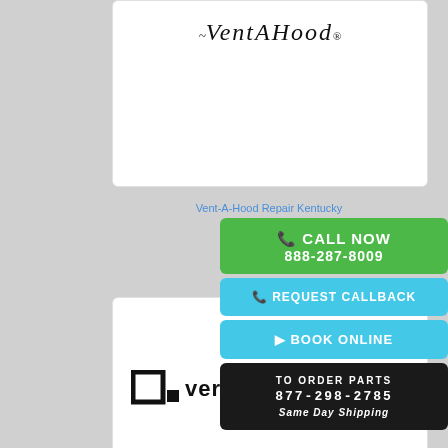[Figure (logo): Vent-A-Hood logo in italic script font]
Vent-A-Hood Repair Kentucky
[Figure (logo): Verona appliance logo with square icon and brand name]
CALL NOW
888-287-8009
REQUEST CALLBACK
BOOK ONLINE
TO ORDER PARTS
877-298-2785
Same Day Shipping
Verona Repair Kentucky
[Figure (logo): Viking appliance logo in bold uppercase letters]